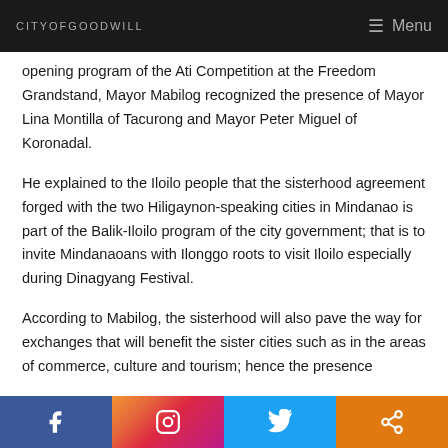CITYOFGOODWILL    Menu
opening program of the Ati Competition at the Freedom Grandstand, Mayor Mabilog recognized the presence of Mayor Lina Montilla of Tacurong and Mayor Peter Miguel of Koronadal.
He explained to the Iloilo people that the sisterhood agreement forged with the two Hiligaynon-speaking cities in Mindanao is part of the Balik-Iloilo program of the city government; that is to invite Mindanaoans with Ilonggo roots to visit Iloilo especially during Dinagyang Festival.
According to Mabilog, the sisterhood will also pave the way for exchanges that will benefit the sister cities such as in the areas of commerce, culture and tourism; hence the presence [continues]
Facebook | Instagram | Twitter | Share